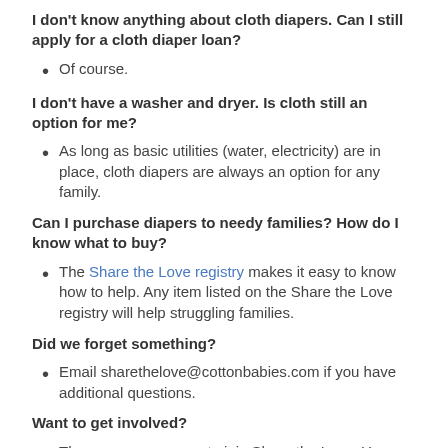I don't know anything about cloth diapers. Can I still apply for a cloth diaper loan?
Of course.
I don't have a washer and dryer. Is cloth still an option for me?
As long as basic utilities (water, electricity) are in place, cloth diapers are always an option for any family.
Can I purchase diapers to needy families? How do I know what to buy?
The Share the Love registry makes it easy to know how to help. Any item listed on the Share the Love registry will help struggling families.
Did we forget something?
Email sharethelove@cottonbabies.com if you have additional questions.
Want to get involved?
There are many ways to join Share the Love. You can buy diapers for a family around you, or simply just